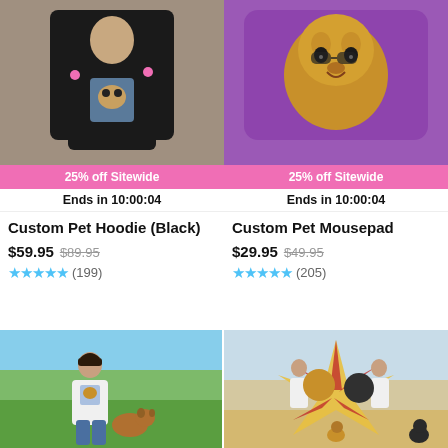[Figure (photo): Person wearing a black custom pet hoodie with dog face graphic]
25% off Sitewide
Ends in 10:00:04
Custom Pet Hoodie (Black)
$59.95  $89.95
★★★★★ (199)
[Figure (photo): Custom pet mousepad with golden retriever portrait on purple background]
25% off Sitewide
Ends in 10:00:04
Custom Pet Mousepad
$29.95  $49.95
★★★★★ (205)
[Figure (photo): Woman standing in park wearing white custom pet sweatshirt with golden retriever nearby]
[Figure (photo): Two people holding large custom pet beach towel with two dogs, another dog sitting nearby]